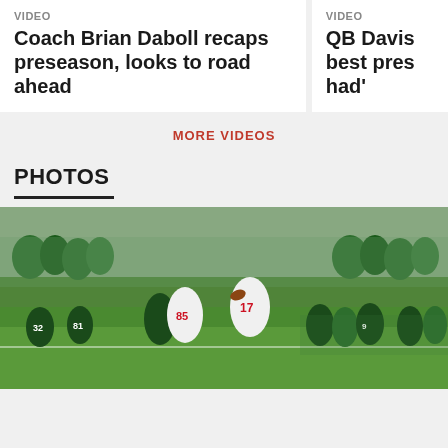VIDEO
Coach Brian Daboll recaps preseason, looks to road ahead
VIDEO
QB Davis best pres had'
MORE VIDEOS
PHOTOS
[Figure (photo): New York Giants players in white uniforms with red numbers (85 and 17) running on football field during game against Jets players in green uniforms, crowd in background]